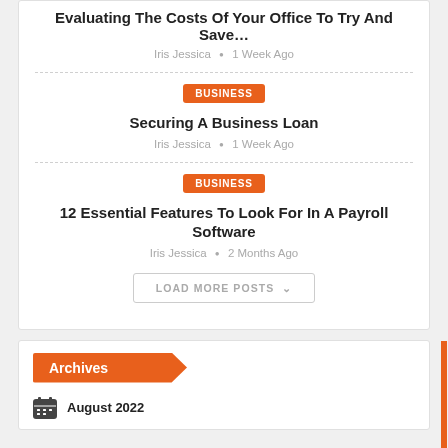Evaluating The Costs Of Your Office To Try And Save…
Iris Jessica • 1 Week Ago
BUSINESS
Securing A Business Loan
Iris Jessica • 1 Week Ago
BUSINESS
12 Essential Features To Look For In A Payroll Software
Iris Jessica • 2 Months Ago
LOAD MORE POSTS
Archives
August 2022